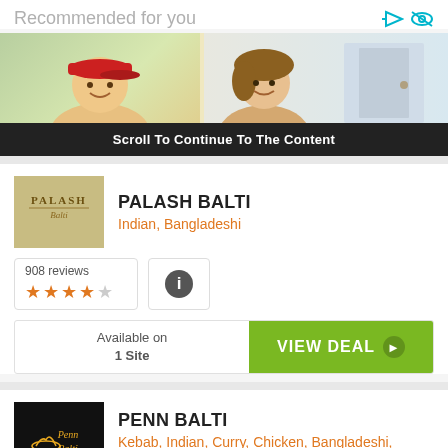Recommended for you
[Figure (photo): Ad banner with two people, man in red cap on left and woman on right, with scroll-to-continue overlay]
Scroll To Continue To The Content
PALASH BALTI
Indian, Bangladeshi
908 reviews ★★★★☆
Available on 1 Site
VIEW DEAL
PENN BALTI
Kebab, Indian, Curry, Chicken, Bangladeshi, Balti
96 reviews ★★★★